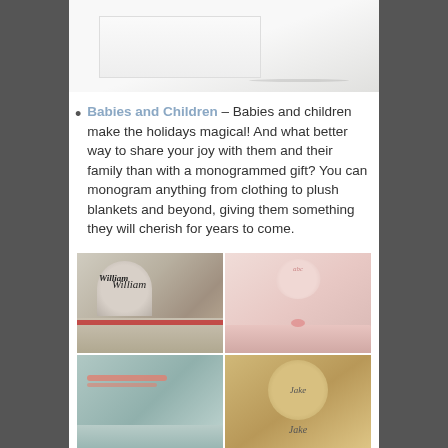[Figure (photo): Partial top view of a white monogrammed item (towel or blanket) on a light background]
Babies and Children – Babies and children make the holidays magical! And what better way to share your joy with them and their family than with a monogrammed gift? You can monogram anything from clothing to plush blankets and beyond, giving them something they will cherish for years to come.
[Figure (photo): Grid of four photos showing monogrammed children's bags and accessories: top-left shows a gray seersucker backpack labeled 'William' with a duffel bag; top-right shows pink monogrammed baby items including a rolled blanket; bottom-left shows a teal/mint bag with coral accents; bottom-right shows a round bag or hat with 'Jake' monogram.]